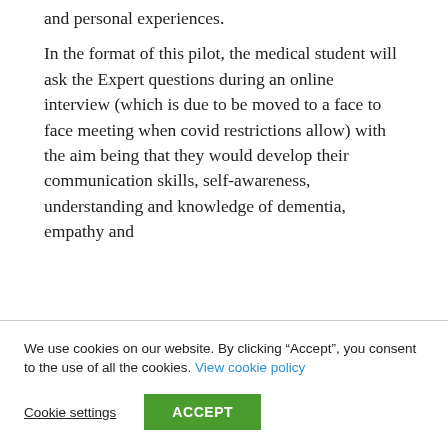and personal experiences.
In the format of this pilot, the medical student will ask the Expert questions during an online interview (which is due to be moved to a face to face meeting when covid restrictions allow) with the aim being that they would develop their communication skills, self-awareness, understanding and knowledge of dementia, empathy and
We use cookies on our website. By clicking “Accept”, you consent to the use of all the cookies. View cookie policy
Cookie settings
ACCEPT